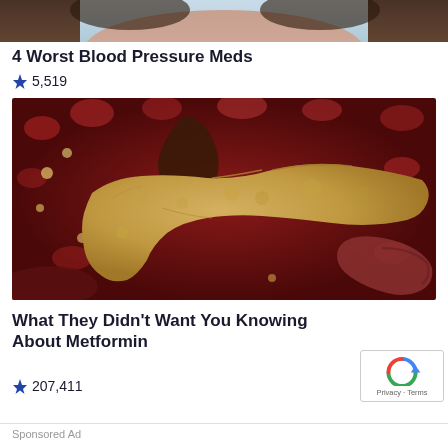[Figure (photo): Top portion of a person's face, chin area visible, light skin tone, photographed close-up]
4 Worst Blood Pressure Meds
🔥 5,519
[Figure (illustration): Medical illustration showing a pancreas organ, golden/tan colored, with red blood cells and biological tissue in the background]
What They Didn't Want You Knowing About Metformin
🔥 207,411
Sponsored Ad